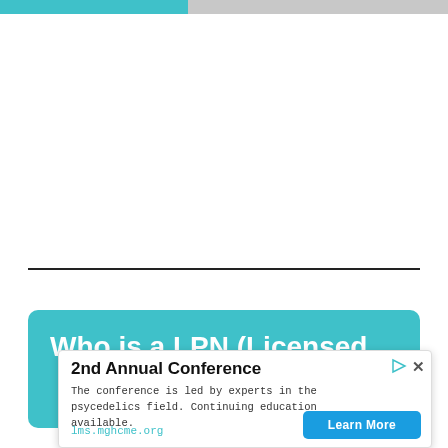Who is a LPN (Licensed
[Figure (other): Advertisement overlay: '2nd Annual Conference' - The conference is led by experts in the psycedelics field. Continuing education available. lms.mghcme.org. Learn More button.]